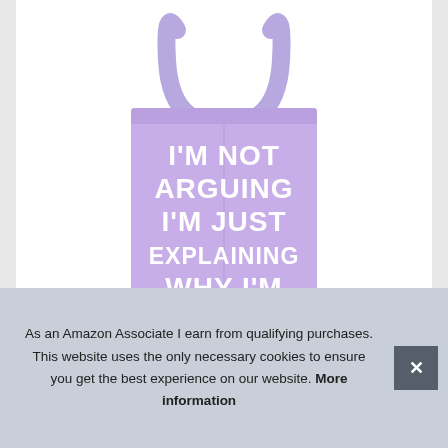[Figure (photo): A lavender/purple tote bag with white bold text reading: I'M NOT ARGUING I'M JUST EXPLAINING WHY I'M (text continues below the visible crop). The bag has two handles at the top and is shown on a white background.]
As an Amazon Associate I earn from qualifying purchases. This website uses the only necessary cookies to ensure you get the best experience on our website. More information